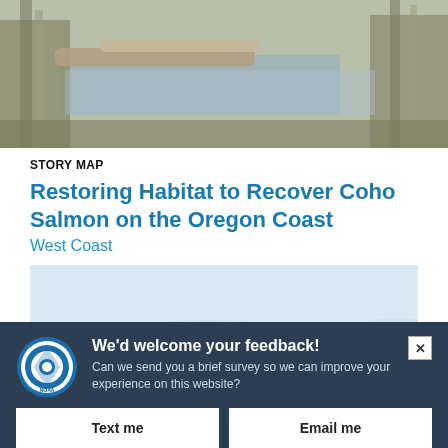[Figure (photo): Wetland or marsh habitat photograph showing logs, reeds, and calm water with natural vegetation in muted tones]
STORY MAP
Restoring Habitat to Recover Coho Salmon on the Oregon Coast
West Coast
[Figure (map): Light blue/grey map image partially visible, likely showing the Oregon Coast or a mapped region]
We'd welcome your feedback! Can we send you a brief survey so we can improve your experience on this website?
Text me
Email me